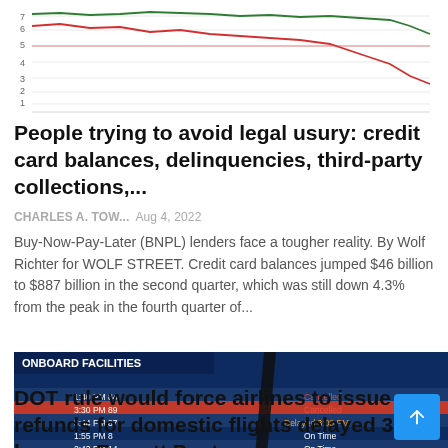[Figure (line-chart): Partial line chart visible at top of page showing two lines (red and green/dark) with y-axis values 1-8 approximately, cut off at top]
People trying to avoid legal usury: credit card balances, delinquencies, third-party collections,...
CHARLES A. TOW...   Aug 4, 2022
Buy-Now-Pay-Later (BNPL) lenders face a tougher reality. By Wolf Richter for WOLF STREET. Credit card balances jumped $46 billion to $887 billion in the second quarter, which was still down 4.3% from the peak in the fourth quarter of...
[Figure (screenshot): Airport departure board showing flight information with ONBOARD FACILITIES label in top-left. Blue background with rows of airline flights, times, gate numbers, and statuses including Cancelled, On Time, Delayed 1:51 PM.]
DOT rule would force airlines to issue refunds for domestic flights delayed 3 hours – Everett Post